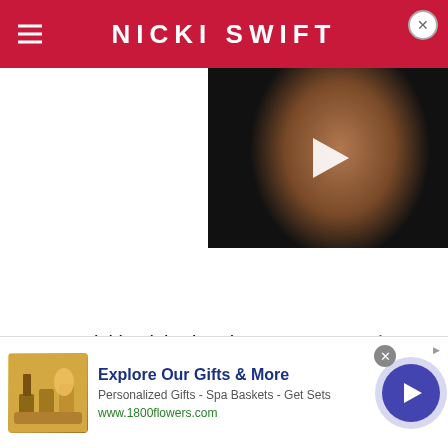NICKI SWIFT
[Figure (photo): Video thumbnail showing a bald man with beard looking upward, against a dark background, with a white play button triangle overlay]
It was quickly picked up by Paper Mag, Vice, and
Cowboy among other sites. As translated in a BuzzFeed...
[Figure (other): Advertisement banner for 1800flowers.com: Explore Our Gifts & More. Personalized Gifts - Spa Baskets - Get Sets. www.1800flowers.com]